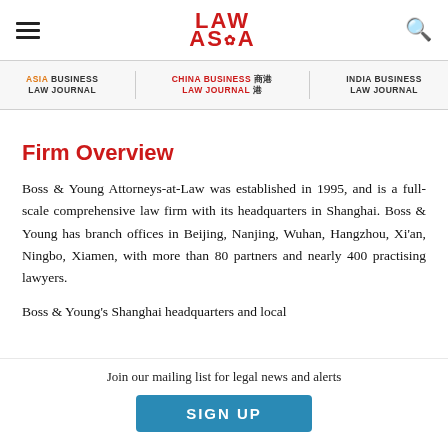LAW ASIA
ASIA BUSINESS LAW JOURNAL | CHINA BUSINESS LAW JOURNAL | INDIA BUSINESS LAW JOURNAL
Firm Overview
Boss & Young Attorneys-at-Law was established in 1995, and is a full-scale comprehensive law firm with its headquarters in Shanghai. Boss & Young has branch offices in Beijing, Nanjing, Wuhan, Hangzhou, Xi'an, Ningbo, Xiamen, with more than 80 partners and nearly 400 practising lawyers.
Boss & Young's Shanghai headquarters and local
Join our mailing list for legal news and alerts
SIGN UP